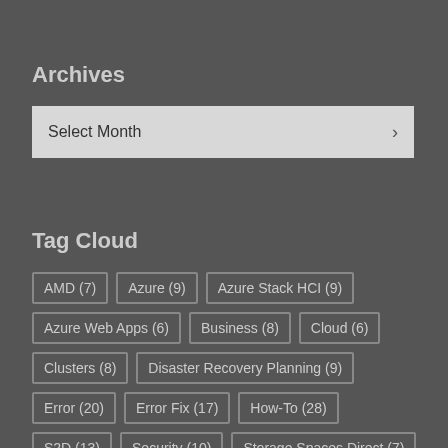Archives
Select Month
Tag Cloud
AMD (7)
Azure (9)
Azure Stack HCI (9)
Azure Web Apps (6)
Business (8)
Cloud (6)
Clusters (8)
Disaster Recovery Planning (9)
Error (20)
Error Fix (17)
How-To (28)
S2D (13)
Security (10)
Storage Spaces Direct (7)